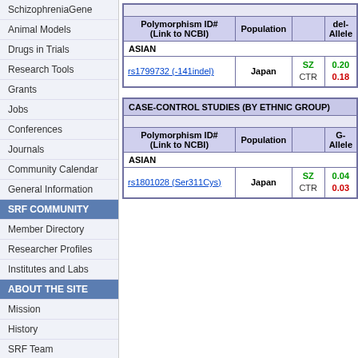SchizophreniaGene
Animal Models
Drugs in Trials
Research Tools
Grants
Jobs
Conferences
Journals
Community Calendar
General Information
SRF COMMUNITY
Member Directory
Researcher Profiles
Institutes and Labs
ABOUT THE SITE
Mission
History
SRF Team
Advisory Board
Support Us
How to Cite
Fan (E)Mail
| Polymorphism ID# (Link to NCBI) | Population |  | del-Allele |
| --- | --- | --- | --- |
| ASIAN |  |  |  |
| rs1799732 (-141indel) | Japan | SZ CTR | 0.20 0.18 |
| Polymorphism ID# (Link to NCBI) | Population |  | G-Allele |
| --- | --- | --- | --- |
| CASE-CONTROL STUDIES (BY ETHNIC GROUP) |  |  |  |
| ASIAN |  |  |  |
| rs1801028 (Ser311Cys) | Japan | SZ CTR | 0.04 0.03 |